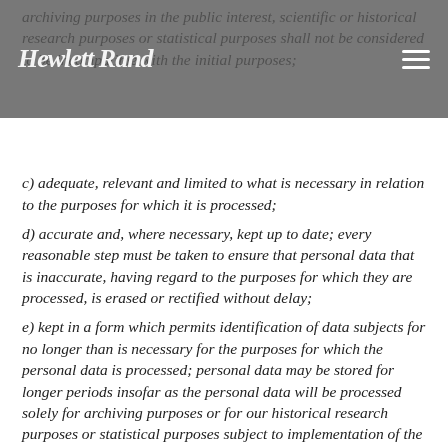Hewlett Rand
archiving purposes in the public interest, scientific or historical research purposes or statistical purposes shall not be considered to be incompatible with the initial purposes;
c) adequate, relevant and limited to what is necessary in relation to the purposes for which it is processed;
d) accurate and, where necessary, kept up to date; every reasonable step must be taken to ensure that personal data that is inaccurate, having regard to the purposes for which they are processed, is erased or rectified without delay;
e) kept in a form which permits identification of data subjects for no longer than is necessary for the purposes for which the personal data is processed; personal data may be stored for longer periods insofar as the personal data will be processed solely for archiving purposes or for our historical research purposes or statistical purposes subject to implementation of the appropriate technical and organisational measures required by the